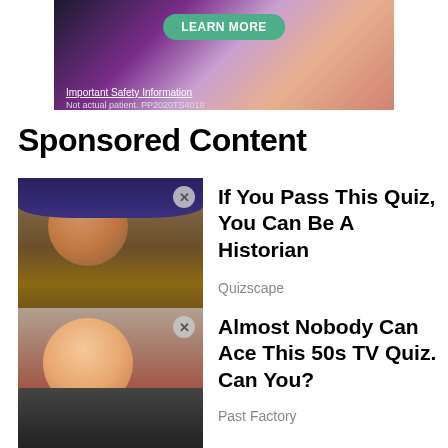[Figure (photo): Advertisement banner with 'LEARN MORE' button, 'Important Safety Information' link, and 'Not actual patient. PP2020TS4019' disclaimer, colorful gradient background]
Sponsored Content
[Figure (photo): Thumbnail of Henry VIII portrait painting with X close button]
If You Pass This Quiz, You Can Be A Historian
Quizscape
[Figure (photo): Thumbnail of comedian with blonde bowl-cut hair and glasses, with X close button]
Almost Nobody Can Ace This 50s TV Quiz. Can You?
Past Factory